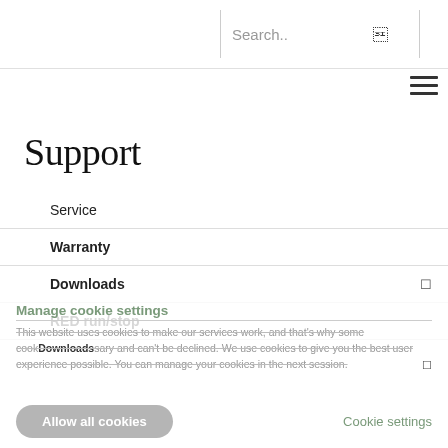Search..
Support
Service
Warranty
Downloads
RED run/stop
Manage cookie settings
This website uses cookies to make our services work, and that's why some cookies are necessary and can't be declined. We use cookies to give you the best user experience possible. You can manage your cookies in the next session.
Allow all cookies
Cookie settings